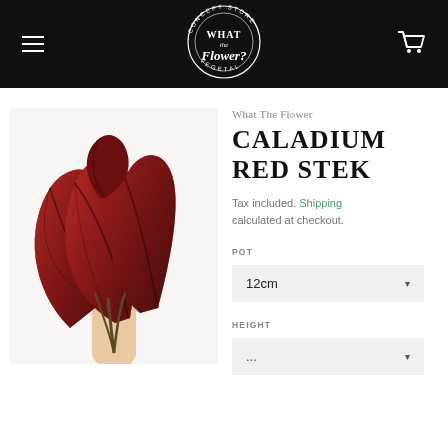What The Flower - navigation header with logo
What The Flower
CALADIUM RED STEK
Tax included. Shipping calculated at checkout.
POT
12cm
HEIGHT
[Figure (photo): A hand holding several large red caladium leaves with dark veining against a white background]